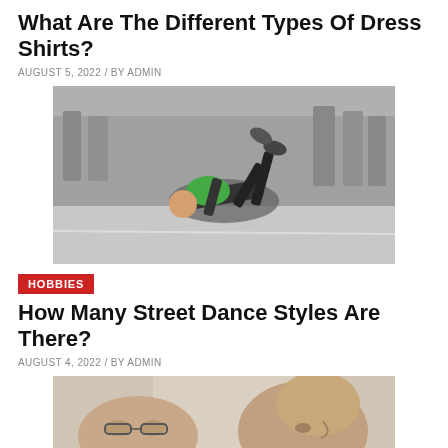What Are The Different Types Of Dress Shirts?
AUGUST 5, 2022 / BY ADMIN
[Figure (photo): Black and white street photo of a breakdancer performing a move on the sidewalk while passersby watch in the background. The dancer is wearing a green shirt and black pants.]
HOBBIES
How Many Street Dance Styles Are There?
AUGUST 4, 2022 / BY ADMIN
[Figure (photo): Color close-up photo of two men's faces in the foreground, partially out of focus. One wears glasses. A person in teal clothing is visible in the background.]